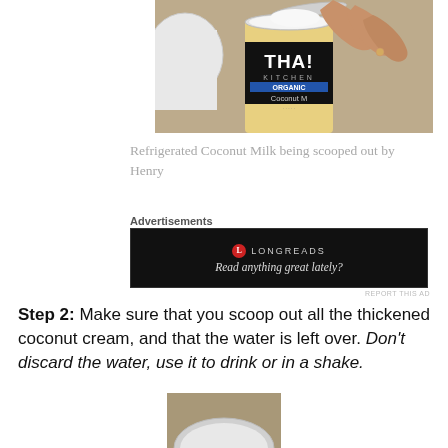[Figure (photo): A hand scooping out thickened white coconut cream from an open can of Thai Kitchen Organic Coconut Milk, on a granite countertop with a white bowl nearby.]
Refrigerated Coconut Milk being scooped out by Henry
Advertisements
[Figure (screenshot): Black advertisement banner for Longreads with text: Read anything great lately?]
REPORT THIS AD
Step 2: Make sure that you scoop out all the thickened coconut cream, and that the water is left over. Don't discard the water, use it to drink or in a shake.
[Figure (photo): Partial photo of a bowl or container on a granite countertop, showing the bottom of the page.]